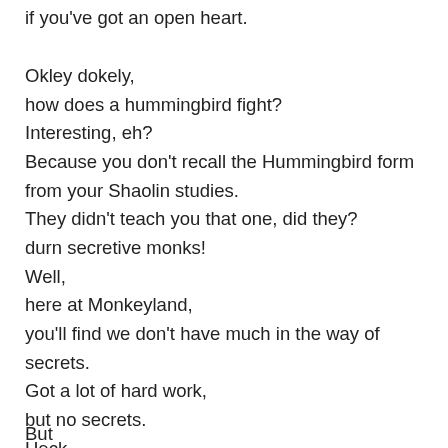if you've got an open heart.
Okley dokely,
how does a hummingbird fight?
Interesting, eh?
Because you don't recall the Hummingbird form
from your Shaolin studies.
They didn't teach you that one, did they?
durn secretive monks!
Well,
here at Monkeyland,
you'll find we don't have much in the way of secrets.
Got a lot of hard work,
but no secrets.
Heck,
everything is written down in the books,
shown on the courses.
But